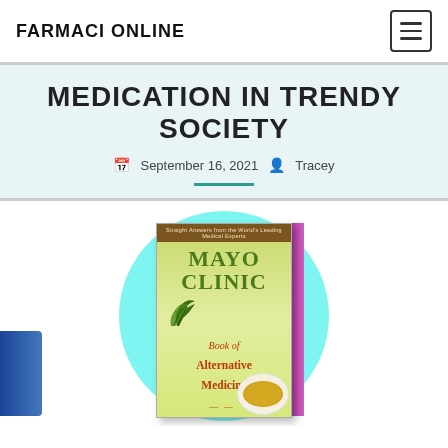FARMACI ONLINE
MEDICATION IN TRENDY SOCIETY
September 16, 2021  Tracey
[Figure (photo): Mayo Clinic Book of Alternative Medicine & Home Remedies book cover with teal circle background]